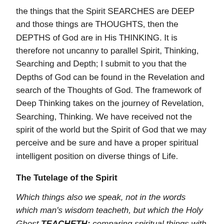the things that the Spirit SEARCHES are DEEP and those things are THOUGHTS, then the DEPTHS of God are in His THINKING. It is therefore not uncanny to parallel Spirit, Thinking, Searching and Depth; I submit to you that the Depths of God can be found in the Revelation and search of the Thoughts of God. The framework of Deep Thinking takes on the journey of Revelation, Searching, Thinking. We have received not the spirit of the world but the Spirit of God that we may perceive and be sure and have a proper spiritual intelligent position on diverse things of Life.
The Tutelage of the Spirit
Which things also we speak, not in the words which man's wisdom teacheth, but which the Holy Ghost TEACHETH; comparing spiritual things with spiritual.